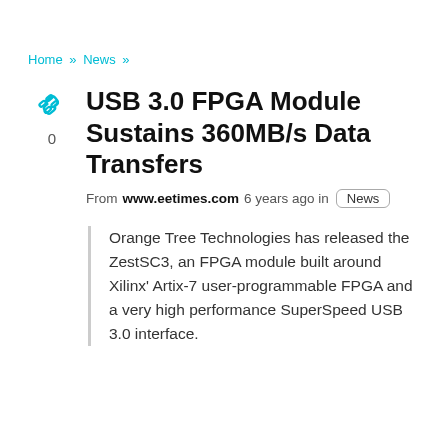Home » News »
USB 3.0 FPGA Module Sustains 360MB/s Data Transfers
From www.eetimes.com 6 years ago in News
Orange Tree Technologies has released the ZestSC3, an FPGA module built around Xilinx' Artix-7 user-programmable FPGA and a very high performance SuperSpeed USB 3.0 interface.